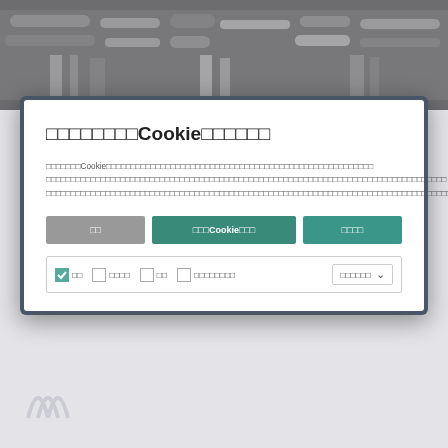[Figure (photo): Black and white photo of metal pipes, tubes, and extruded aluminum profiles stacked together]
このサイトはCookieを使用します
このサイトはCookieを使用しており、お客様のブラウジング体験を向上させ、パーソナライズされたサービスを提供し、広告を表示し、サイトのトラフィックを分析するために使用しています。
拒否　　すべてのCookieを許可　　同意する
✓ 必須　□ パフォーマンス　□ 機能　□ ターゲティング広告　クッキーの設定 ∨